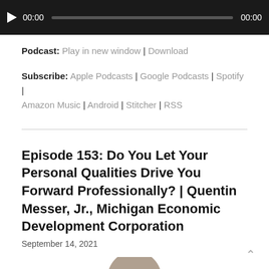[Figure (screenshot): Audio player bar with play button, time display 00:00, progress bar, and end time 00:00]
Podcast: Play in new window | Download
Subscribe: Apple Podcasts | Google Podcasts | Spotify | Amazon Music | Android | Stitcher | RSS
Episode 153: Do You Let Your Personal Qualities Drive You Forward Professionally? | Quentin Messer, Jr., Michigan Economic Development Corporation
September 14, 2021
[Figure (photo): Partial circular thumbnail photo of a person, cropped at bottom of page]